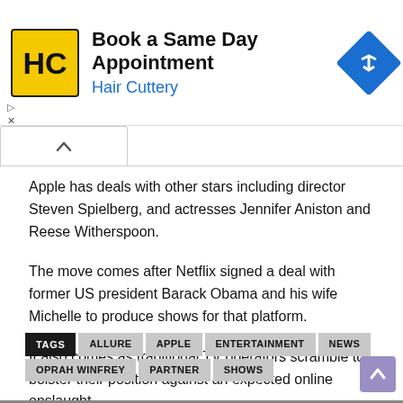[Figure (screenshot): Advertisement banner for Hair Cuttery: Book a Same Day Appointment]
Apple has deals with other stars including director Steven Spielberg, and actresses Jennifer Aniston and Reese Witherspoon.
The move comes after Netflix signed a deal with former US president Barack Obama and his wife Michelle to produce shows for that platform.
It also comes as traditional TV operators scramble to bolster their position against an expected online onslaught
TAGS  ALLURE  APPLE  ENTERTAINMENT  NEWS  OPRAH WINFREY  PARTNER  SHOWS